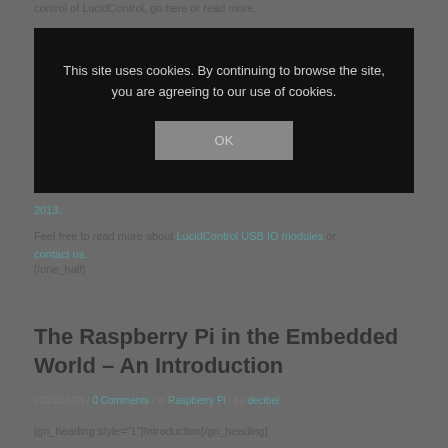control of LucidControl, go here or read more.
[Figure (screenshot): Cookie consent overlay dialog with dark background. Text reads: 'This site uses cookies. By continuing to browse the site, you are agreeing to our use of cookies.' with an OK button.]
2013.
Feel free to read more about LucidControl USB IO modules or contact us.
[/one_half]
The Raspberry Pi in the Embedded World – An Introduction
2013/04/18 / 0 Comments / in Raspberry Pi / by decibel
[gn_heading style="1"]Introduction[/gn_heading]